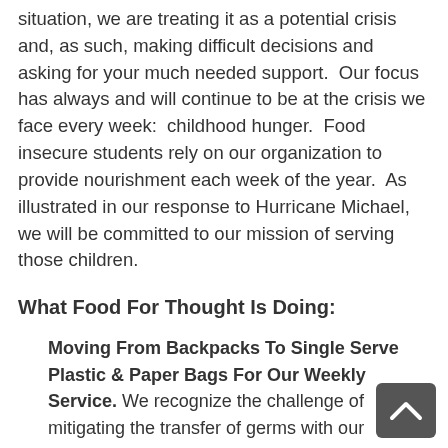situation, we are treating it as a potential crisis and, as such, making difficult decisions and asking for your much needed support.  Our focus has always and will continue to be at the crisis we face every week:  childhood hunger.  Food insecure students rely on our organization to provide nourishment each week of the year.  As illustrated in our response to Hurricane Michael, we will be committed to our mission of serving those children.
What Food For Thought Is Doing:
Moving From Backpacks To Single Serve Plastic & Paper Bags For Our Weekly Service. We recognize the challenge of mitigating the transfer of germs with our services therefore we are suspending the use of backpacks and shifting to disposable plastic and paper bags. The food inside of these bags will not differ from